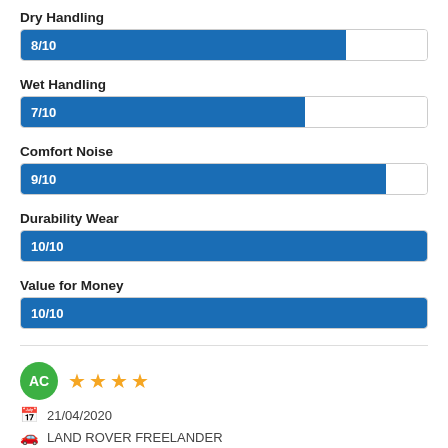Dry Handling
[Figure (bar-chart): Dry Handling]
Wet Handling
[Figure (bar-chart): Wet Handling]
Comfort Noise
[Figure (bar-chart): Comfort Noise]
Durability Wear
[Figure (bar-chart): Durability Wear]
Value for Money
[Figure (bar-chart): Value for Money]
AC ★★★★ 21/04/2020 LAND ROVER FREELANDER
Dry Handling
[Figure (bar-chart): Dry Handling]